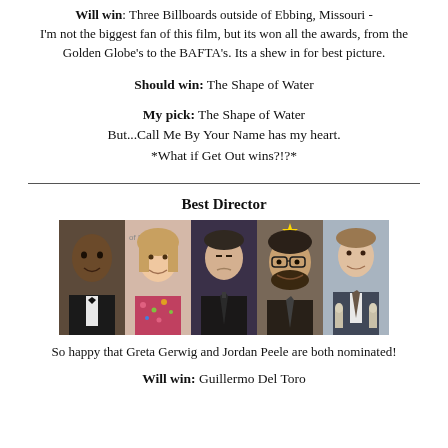Will win: Three Billboards outside of Ebbing, Missouri - I'm not the biggest fan of this film, but its won all the awards, from the Golden Globe's to the BAFTA's. Its a shew in for best picture.
Should win: The Shape of Water
My pick: The Shape of Water
But...Call Me By Your Name has my heart.
*What if Get Out wins?!?*
Best Director
[Figure (photo): Five photos of Best Director nominees side by side: Jordan Peele, Greta Gerwig, Christopher Nolan, Guillermo Del Toro, and one more director.]
So happy that Greta Gerwig and Jordan Peele are both nominated!
Will win: Guillermo Del Toro